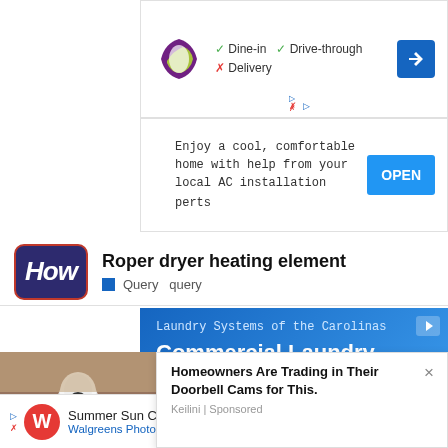[Figure (screenshot): Taco Bell ad: Dine-in checkmark, Drive-through checkmark, Delivery X, with navigation arrow]
[Figure (screenshot): AC installation ad: Enjoy a cool, comfortable home with help from your local AC installation experts. OPEN button.]
Roper dryer heating element
Query  query
[Figure (screenshot): Blue ad: Laundry Systems of the Carolinas. Commercial Laundry Equipment - Shipping Options Available. We Carry a Full Line of Replacement Parts. Contact Us Today.]
[Figure (screenshot): Popup ad: Homeowners Are Trading in Their Doorbell Cams for This. Keilini | Sponsored. Shows hand holding a bulb-shaped camera.]
[Figure (screenshot): Bottom bar ad: Summer Sun Care Savings, Walgreens Photo, with navigation arrow and ntents button]